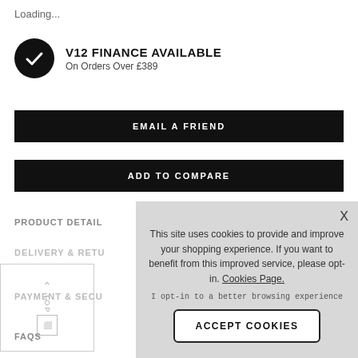Loading...
[Figure (other): Black circle with white checkmark icon for V12 Finance]
V12 FINANCE AVAILABLE
On Orders Over £389
EMAIL A FRIEND
ADD TO COMPARE
PRODUCT DETAIL
DELIVERY & RETU
PAYMENT & SECU
FAQS
This site uses cookies to provide and improve your shopping experience. If you want to benefit from this improved service, please opt-in. Cookies Page.
I opt-in to a better browsing experience
ACCEPT COOKIES